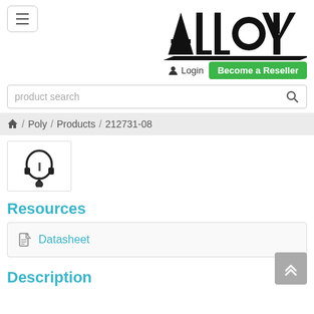[Figure (logo): ALLOY logo in bold black text with stylized letters]
Login
Become a Reseller
product search
/ Poly / Products / 212731-08
[Figure (photo): Poly wireless headset product thumbnail image]
Resources
Datasheet
Description